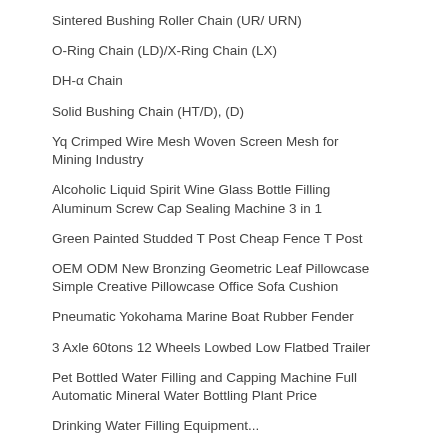Sintered Bushing Roller Chain (UR/ URN)
O-Ring Chain (LD)/X-Ring Chain (LX)
DH-α Chain
Solid Bushing Chain (HT/D), (D)
Yq Crimped Wire Mesh Woven Screen Mesh for Mining Industry
Alcoholic Liquid Spirit Wine Glass Bottle Filling Aluminum Screw Cap Sealing Machine 3 in 1
Green Painted Studded T Post Cheap Fence T Post
OEM ODM New Bronzing Geometric Leaf Pillowcase Simple Creative Pillowcase Office Sofa Cushion
Pneumatic Yokohama Marine Boat Rubber Fender
3 Axle 60tons 12 Wheels Lowbed Low Flatbed Trailer
Pet Bottled Water Filling and Capping Machine Full Automatic Mineral Water Bottling Plant Price
Drinking Water Filling Equipment...